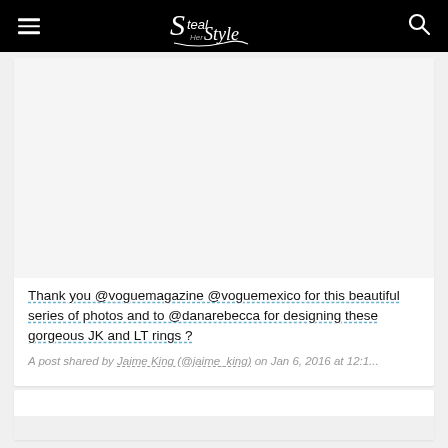Steal Her Style
[Figure (screenshot): Empty image placeholder area from an embedded Instagram post]
Thank you @voguemagazine @voguemexico for this beautiful series of photos and to @danarebecca for designing these gorgeous JK and LT rings ?
A post shared by Jaime King (@jaime_king) on Jan 6, 2016 at 12:1...